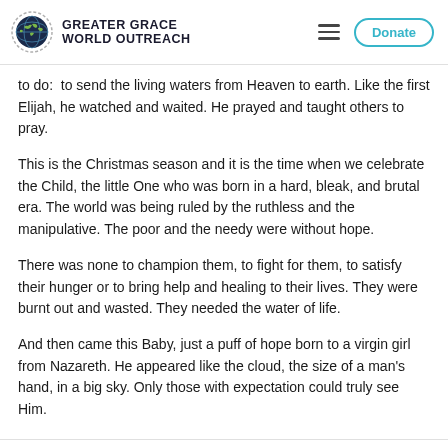GREATER GRACE WORLD OUTREACH
to do:  to send the living waters from Heaven to earth. Like the first Elijah, he watched and waited. He prayed and taught others to pray.
This is the Christmas season and it is the time when we celebrate the Child, the little One who was born in a hard, bleak, and brutal era. The world was being ruled by the ruthless and the manipulative. The poor and the needy were without hope.
There was none to champion them, to fight for them, to satisfy their hunger or to bring help and healing to their lives. They were burnt out and wasted. They needed the water of life.
And then came this Baby, just a puff of hope born to a virgin girl from Nazareth. He appeared like the cloud, the size of a man's hand, in a big sky. Only those with expectation could truly see Him.